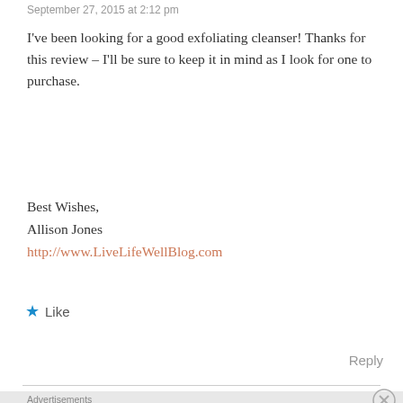September 27, 2015 at 2:12 pm
I've been looking for a good exfoliating cleanser! Thanks for this review – I'll be sure to keep it in mind as I look for one to purchase.
Best Wishes,
Allison Jones
http://www.LiveLifeWellBlog.com
★ Like
Reply
[Figure (screenshot): DuckDuckGo advertisement banner with orange background showing text 'Search, browse, and email with more privacy. All in One Free App' with a phone mockup and DuckDuckGo logo]